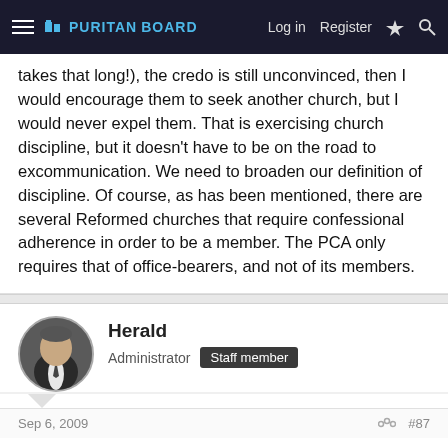PURITAN BOARD | Log in  Register
takes that long!), the credo is still unconvinced, then I would encourage them to seek another church, but I would never expel them. That is exercising church discipline, but it doesn't have to be on the road to excommunication. We need to broaden our definition of discipline. Of course, as has been mentioned, there are several Reformed churches that require confessional adherence in order to be a member. The PCA only requires that of office-bearers, and not of its members.
Herald
Administrator  Staff member
Sep 6, 2009
#87
Lane,
There's only one fly in the ointment. You said: